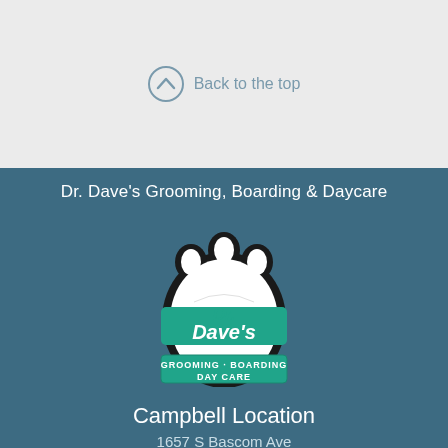Back to the top
Dr. Dave's Grooming, Boarding & Daycare
[Figure (logo): Dr. Dave's Grooming, Boarding & Day Care paw print logo with teal text and banner]
Campbell Location
1657 S Bascom Ave